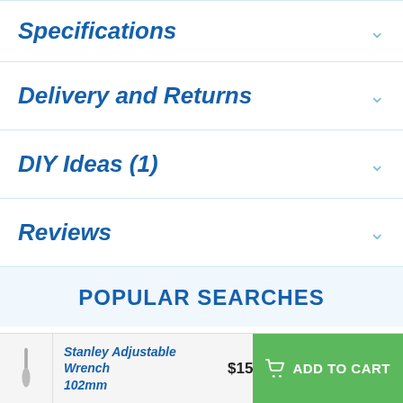Specifications
Delivery and Returns
DIY Ideas (1)
Reviews
POPULAR SEARCHES
Stanley Adjustable Wrench 102mm $15 ADD TO CART